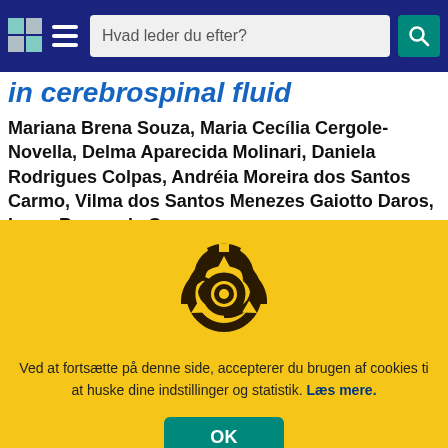Hvad leder du efter?
in cerebrospinal fluid
Mariana Brena Souza, Maria Cecília Cergole-Novella, Delma Aparecida Molinari, Daniela Rodrigues Colpas, Andréia Moreira dos Santos Carmo, Vilma dos Santos Menezes Gaiotto Daros, Ivana Barros de Campos
[Figure (illustration): Biohazard symbol in dark brown/black on yellow background]
Ved at fortsætte på denne side, accepterer du brugen af cookies ti at huske dine indstillinger og statistik. Læs mere.
OK